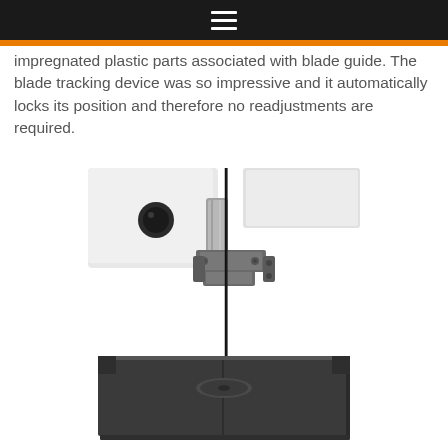≡
impregnated plastic parts associated with blade guide. The blade tracking device was so impressive and it automatically locks its position and therefore no readjustments are required.
[Figure (photo): Close-up photograph of a bandsaw blade guide mechanism showing a metal blade guide assembly attached to a white machine housing, with a thin vertical bandsaw blade passing through the guide and into a dark metal table surface with a circular blade slot.]